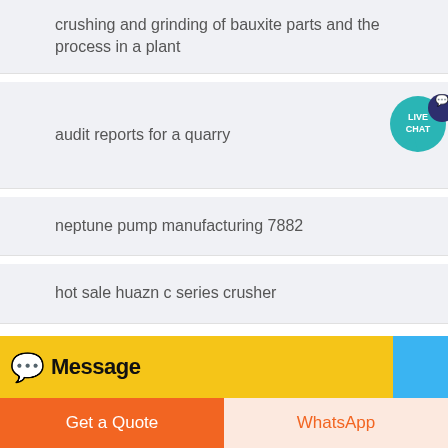crushing and grinding of bauxite parts and the process in a plant
audit reports for a quarry
neptune pump manufacturing 7882
hot sale huazn c series crusher
Message
Get a Quote
WhatsApp